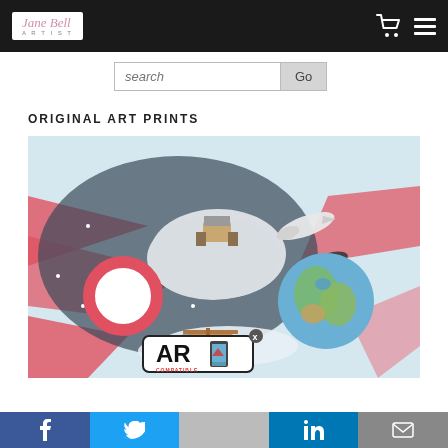Jane Bell Artist
search Go
ORIGINAL ART PRINTS
[Figure (illustration): Watercolor and mixed media artwork featuring space and aviation themes: a moon landing module on a cratered moon surface, a space shuttle, Earth globe, a biplane, stars, and red/white/blue flag-like swashes. AR Compatible badge overlay with close button.]
f  Twitter  AR COMPATIBLE  in  Email